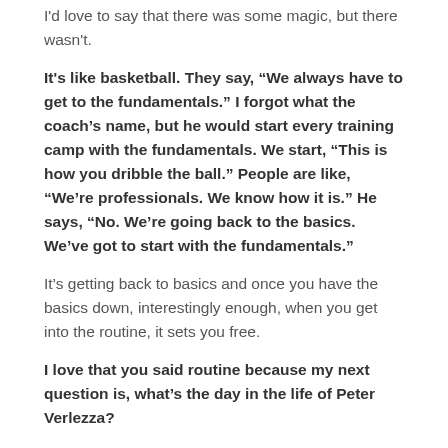I'd love to say that there was some magic, but there wasn't.
It's like basketball. They say, “We always have to get to the fundamentals.” I forgot what the coach’s name, but he would start every training camp with the fundamentals. We start, “This is how you dribble the ball.” People are like, “We’re professionals. We know how it is.” He says, “No. We’re going back to the basics. We’ve got to start with the fundamentals.”
It’s getting back to basics and once you have the basics down, interestingly enough, when you get into the routine, it sets you free.
I love that you said routine because my next question is, what’s the day in the life of Peter Verlezza?
It’s scary. I happen to be sitting in a building that we’re